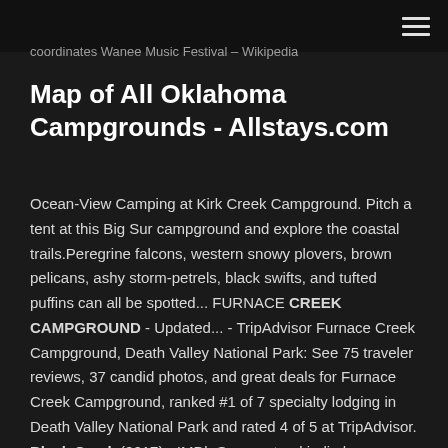coordinates Wanee Music Festival – Wikipedia
Map of All Oklahoma Campgrounds - Allstays.com
Ocean-View Camping at Kirk Creek Campground. Pitch a tent at this Big Sur campground and explore the coastal trails.Peregrine falcons, western snowy plovers, brown pelicans, ashy storm-petrels, black swifts, and tufted puffins can all be spotted... FURNACE CREEK CAMPGROUND - Updated... - TripAdvisor Furnace Creek Campground, Death Valley National Park: See 75 traveler reviews, 37 candid photos, and great deals for Furnace Creek Campground, ranked #1 of 7 specialty lodging in Death Valley National Park and rated 4 of 5 at TripAdvisor. Black Creek (2017) - IMDb Supernatural indie horror Black Creek hits VOD